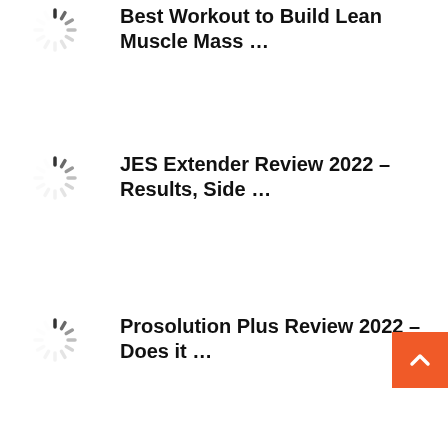[Figure (other): Loading spinner icon (circular dashed ring)]
Best Workout to Build Lean Muscle Mass …
[Figure (other): Loading spinner icon (circular dashed ring)]
JES Extender Review 2022 – Results, Side …
[Figure (other): Loading spinner icon (circular dashed ring)]
Prosolution Plus Review 2022 – Does it …
[Figure (other): Back to top button — orange square with upward chevron]